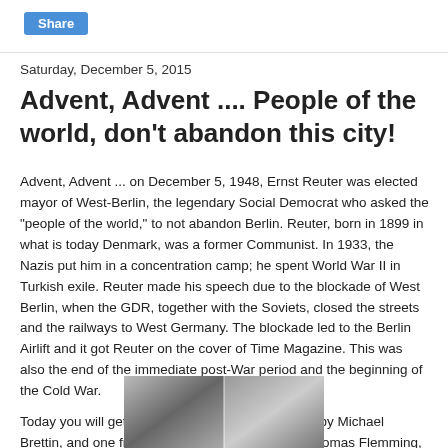Share
Saturday, December 5, 2015
Advent, Advent .... People of the world, don't abandon this city!
Advent, Advent ... on December 5, 1948, Ernst Reuter was elected mayor of West-Berlin, the legendary Social Democrat who asked the "people of the world," to not abandon Berlin. Reuter, born in 1899 in what is today Denmark, was a former Communist. In 1933, the Nazis put him in a concentration camp; he spent World War II in Turkish exile. Reuter made his speech due to the blockade of West Berlin, when the GDR, together with the Soviets, closed the streets and the railways to West Germany. The blockade led to the Berlin Airlift and it got Reuter on the cover of Time Magazine. This was also the end of the immediate post-War period and the beginning of the Cold War.
Today you will get two pics; one from Berlin 1945, by Michael Brettin, and one from Berlin in the Cold War, by Thomas Flemming, from Berlin's past that is still visible today.
[Figure (photo): Black and white historical photograph strip at bottom of page]